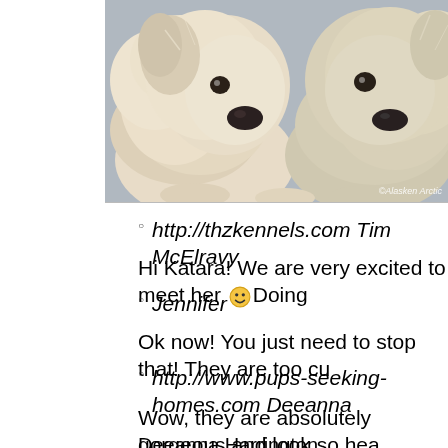[Figure (photo): Two fluffy white/cream Alaskan Arctic puppies lying side by side, photographed close up. Watermark reads '©Alasken Arctic' in bottom right.]
http://thzkennels.com Tim McElravy
Hi Katara! We are very excited to meet her 😊 Doing
Jennifer
Ok now! You just need to stop that! They are too cu
http://www.pups-seeking-homes.com Deeanna
Wow, they are absolutely gorgeous and look so hea
Deeanna Harrington